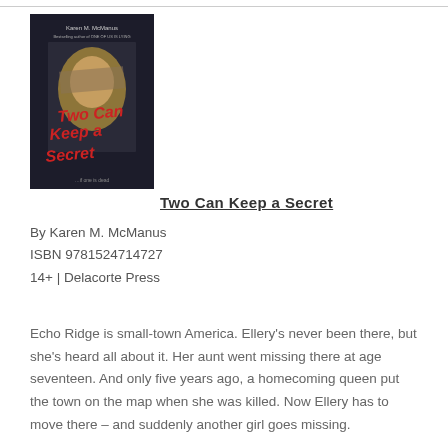[Figure (illustration): Book cover of 'Two Can Keep a Secret' by Karen M. McManus. Dark background with red handwritten-style title text and an image of a girl with blonde hair partially obscuring her face.]
Two Can Keep a Secret
By Karen M. McManus
ISBN 9781524714727
14+ | Delacorte Press
Echo Ridge is small-town America. Ellery's never been there, but she's heard all about it. Her aunt went missing there at age seventeen. And only five years ago, a homecoming queen put the town on the map when she was killed. Now Ellery has to move there – and suddenly another girl goes missing.